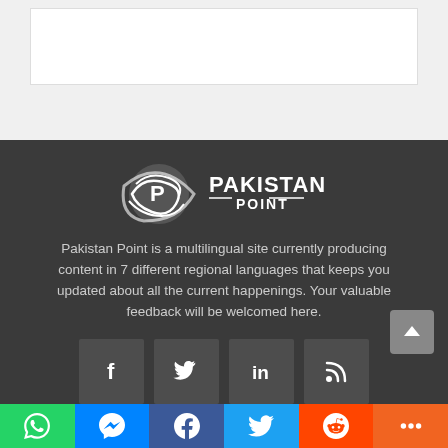[Figure (screenshot): White content box on grey background at top of page]
[Figure (logo): Pakistan Point logo - white swoosh/globe icon with PAKISTAN POINT text]
Pakistan Point is a multilingual site currently producing content in 7 different regional languages that keeps you updated about all the current happenings. Your valuable feedback will be welcomed here.
[Figure (infographic): Four social media icon buttons: Facebook, Twitter, LinkedIn, RSS feed]
ABOUT US
OUR NETWORK
Contact Us
UrduPoint
Advertisement
Urdu News
Social sharing bar: WhatsApp, Messenger, Facebook, Twitter, Reddit, More